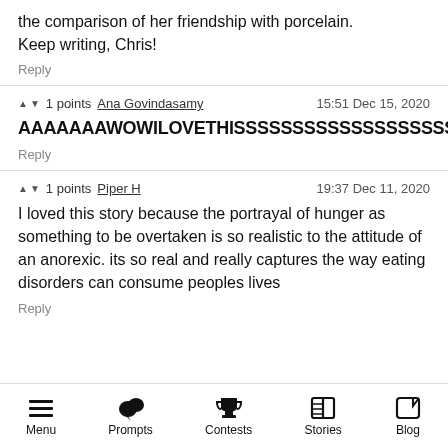the comparison of her friendship with porcelain. Keep writing, Chris!
Reply
▲ ▼ 1 points  Ana Govindasamy  15:51 Dec 15, 2020
AAAAAAAWOWILOVETHISSSSSSSSSSSSSSSSSSS
Reply
▲ ▼ 1 points  Piper H  19:37 Dec 11, 2020
I loved this story because the portrayal of hunger as something to be overtaken is so realistic to the attitude of an anorexic. its so real and really captures the way eating disorders can consume peoples lives
Reply
Menu  Prompts  Contests  Stories  Blog